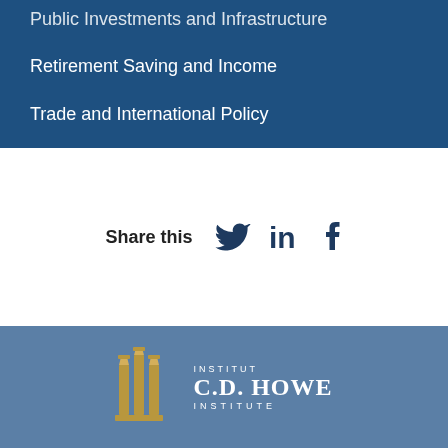Public Investments and Infrastructure
Retirement Saving and Income
Trade and International Policy
Share this
[Figure (logo): C.D. Howe Institute logo with gold pillar icon and white text reading INSTITUT C.D. HOWE INSTITUTE on steel blue background]